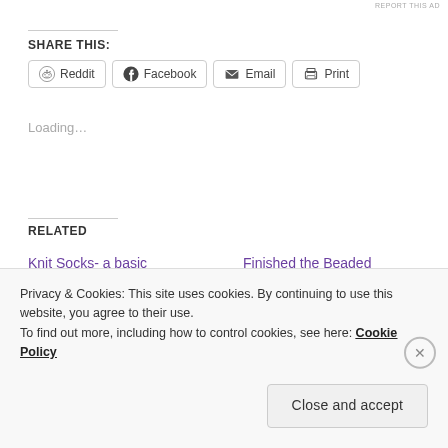REPORT THIS AD
SHARE THIS:
Reddit   Facebook   Email   Print
Loading...
RELATED
Knit Socks- a basic pattern/recipe
January 20, 2019
Finished the Beaded Wedding Scarf
September 20, 2009
Privacy & Cookies: This site uses cookies. By continuing to use this website, you agree to their use.
To find out more, including how to control cookies, see here: Cookie Policy
Close and accept